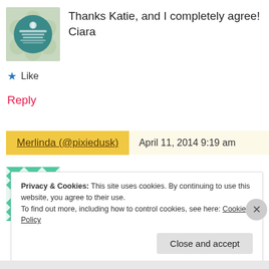[Figure (illustration): Circular blog avatar with floral/botanical design on teal background, text 'Our Little House in the Country']
Thanks Katie, and I completely agree! Ciara
★ Like
Reply
Merlinda (@pixiedusk)
April 11, 2014 9:19 am
[Figure (illustration): Square avatar with teal/white geometric diamond pattern]
So many things we can do! So little time =) #pocolo
Privacy & Cookies: This site uses cookies. By continuing to use this website, you agree to their use.
To find out more, including how to control cookies, see here: Cookie Policy
Close and accept